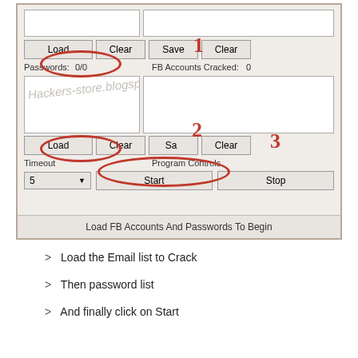[Figure (screenshot): Screenshot of a Facebook account cracker tool UI showing Load/Clear/Save buttons, text input areas for email and password lists, Timeout dropdown set to 5, Start and Stop buttons, with red numbered annotations (1, 2, 3) circling Load, Load, and Start buttons respectively. Watermark text 'Hackers-store.blogspot.com' overlaid on screenshot.]
Load the Email list to Crack
Then password list
And finally click on Start